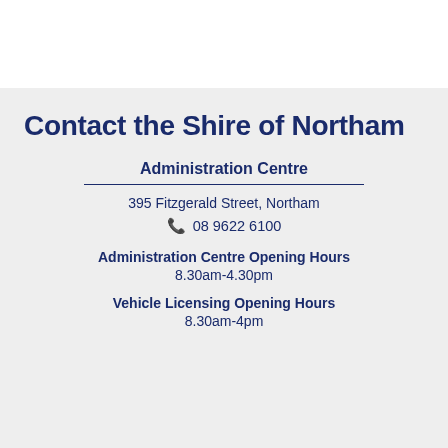Contact the Shire of Northam
Administration Centre
395 Fitzgerald Street, Northam
08 9622 6100
Administration Centre Opening Hours
8.30am-4.30pm
Vehicle Licensing Opening Hours
8.30am-4pm